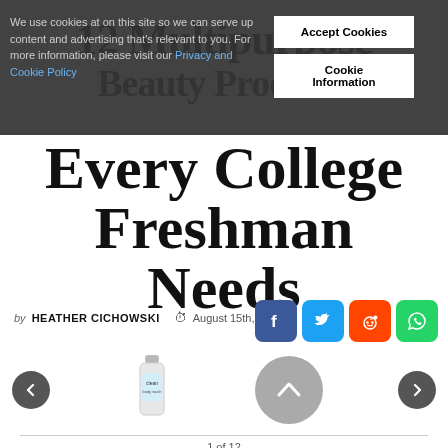[Figure (screenshot): Cookie consent banner overlay with text and buttons for Accept Cookies and Cookie Information]
12 Multipurpose Beauty Products Every College Freshman Needs
by HEATHER CICHOWSKI  August 15th, 2017
[Figure (infographic): Social sharing icons for Facebook, Twitter, Reddit, and WhatsApp]
[Figure (photo): Gallery navigation with previous/next arrows, product image, and up arrow. Shows a product bottle in center.]
1 of 12